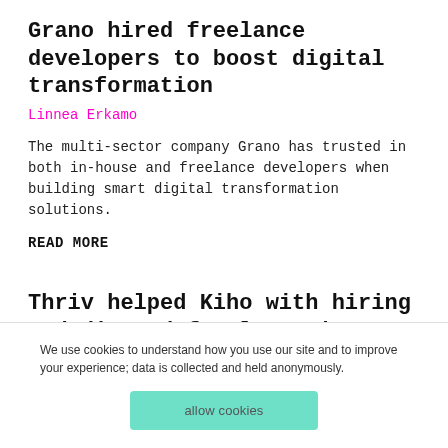Grano hired freelance developers to boost digital transformation
Linnea Erkamo
The multi-sector company Grano has trusted in both in-house and freelance developers when building smart digital transformation solutions.
READ MORE
Thriv helped Kiho with hiring a dedicated freelance iOS developer
Linnea Erkamo
We use cookies to understand how you use our site and to improve your experience; data is collected and held anonymously.
allow cookies